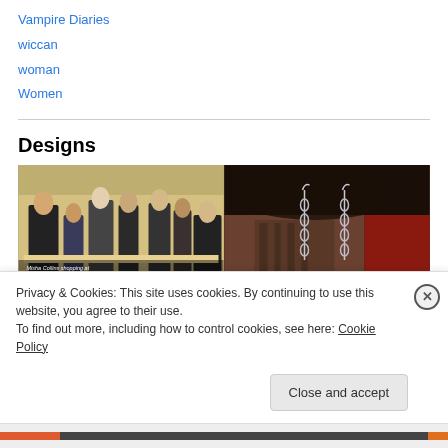Vampire Diaries
wiccan
woman
Women
Designs
[Figure (photo): People shopping at a handmade jewelry table at a Salute to Supernatural convention. Caption: 'Misha Collins shopping at my handmade jewelry table at a Salute to Supernatural...']
[Figure (photo): Close-up of silver chain earrings against dark background with red and zebra print.]
Privacy & Cookies: This site uses cookies. By continuing to use this website, you agree to their use.
To find out more, including how to control cookies, see here: Cookie Policy
Close and accept